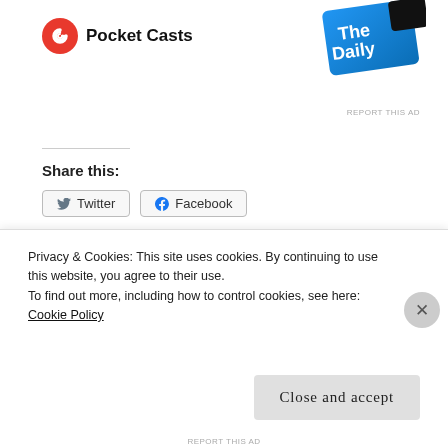[Figure (logo): Pocket Casts logo — red circular icon with white C and 'Pocket Casts' wordmark]
[Figure (illustration): The Daily podcast card/tile in blue gradient, partially cut off at top right]
REPORT THIS AD
Share this:
Twitter  Facebook (social share buttons)
Like  [blogger avatar thumbnails]
34 bloggers like this.
POSTED IN GRIEF
BABY LOSS   BEREAVED   CHILD LOSS
Privacy & Cookies: This site uses cookies. By continuing to use this website, you agree to their use.
To find out more, including how to control cookies, see here: Cookie Policy
Close and accept